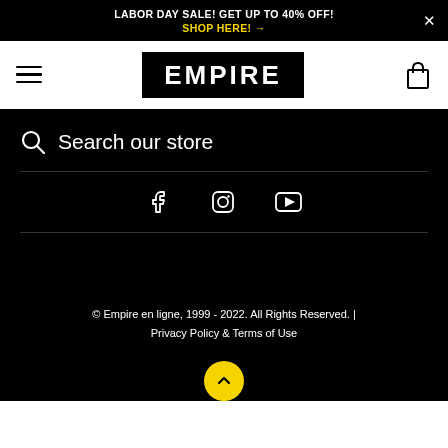LABOR DAY SALE! GET UP TO 40% OFF! SHOP HERE! →
[Figure (logo): Empire brand logo — white bold EMPIRE text on black rectangle background]
Search our store
[Figure (infographic): Social media icons: Facebook, Instagram, YouTube]
© Empire en ligne, 1999 - 2022. All Rights Reserved. | Privacy Policy & Terms of Use